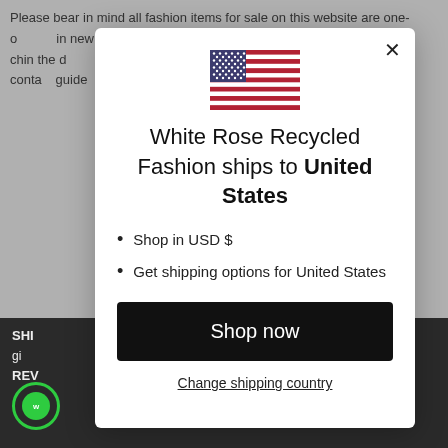Please bear in mind all fashion items for sale on this website are one-o… in new c… ende… chin the d… respo… read the p… conta… guide…
[Figure (screenshot): A modal dialog popup on a fashion e-commerce website showing a US flag, the text 'White Rose Recycled Fashion ships to United States', bullet points about USD and shipping, a 'Shop now' button, and a 'Change shipping country' link.]
White Rose Recycled Fashion ships to United States
Shop in USD $
Get shipping options for United States